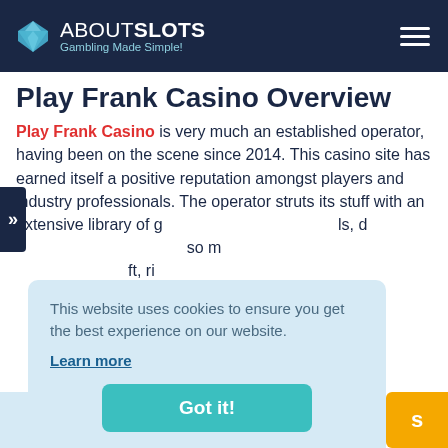ABOUTSLOTS — Gambling Made Simple!
Play Frank Casino Overview
Play Frank Casino is very much an established operator, having been on the scene since 2014. This casino site has earned itself a positive reputation amongst players and industry professionals. The operator struts its stuff with an extensive library of g... ls, d... so m... ft, ri...
This website uses cookies to ensure you get the best experience on our website. Learn more
Got it!